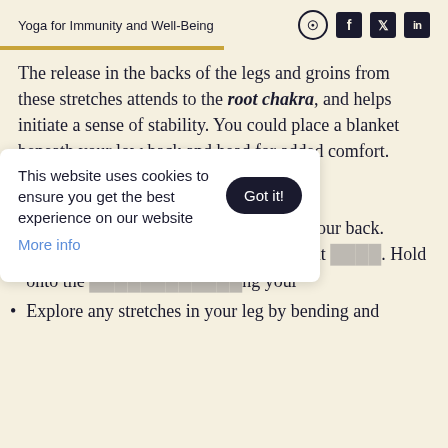Yoga for Immunity and Well-Being
The release in the backs of the legs and groins from these stretches attends to the root chakra, and helps initiate a sense of stability. You could place a blanket beneath your low back and head for added comfort.
Try this:
To practice this pose, come down onto your back. [partially obscured] of your right [partially obscured]. Hold onto the [partially obscured]ng your
Explore any stretches in your leg by bending and
This website uses cookies to ensure you get the best experience on our website. More info. Got it!